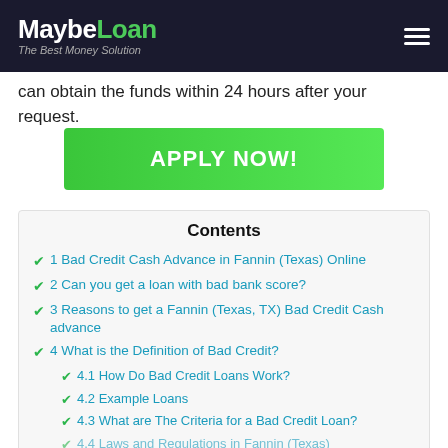MaybeLoan – The Best Money Solution
can obtain the funds within 24 hours after your request.
[Figure (other): Green APPLY NOW! button]
Contents
1 Bad Credit Cash Advance in Fannin (Texas) Online
2 Can you get a loan with bad bank score?
3 Reasons to get a Fannin (Texas, TX) Bad Credit Cash advance
4 What is the Definition of Bad Credit?
4.1 How Do Bad Credit Loans Work?
4.2 Example Loans
4.3 What are The Criteria for a Bad Credit Loan?
4.4 Laws and Regulations in Fannin (Texas)